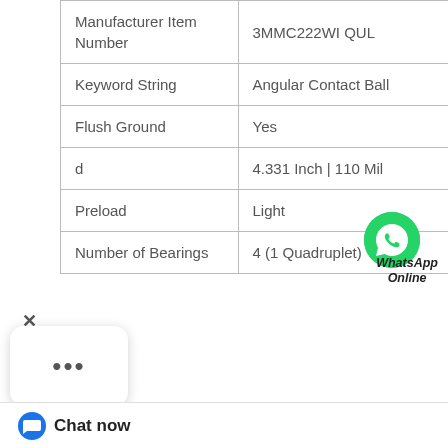| Property | Value |
| --- | --- |
| Manufacturer Item Number | 3MMC222WI QUL |
| Keyword String | Angular Contact Ball |
| Flush Ground | Yes |
| d | 4.331 Inch | 110 Mil |
| Preload | Light |
| Number of Bearings | 4 (1 Quadruplet) |
[Figure (illustration): WhatsApp contact button - green circle with phone handset icon and 'WhatsApp Online' label]
|  | Enable Dropship:Mobilgrease XHP222; Rotation:Tapered; Supplier Part Number:SETSCREW; Displacement:65; P le:Steel; Pack Siz 25830; UOM:Sets |
[Figure (illustration): Three dots menu card UI element]
Chat now